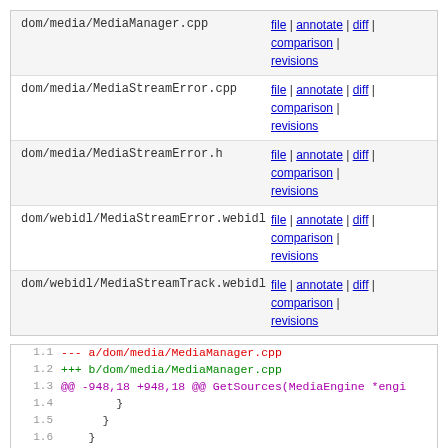| File | Links |
| --- | --- |
| dom/media/MediaManager.cpp | file | annotate | diff | comparison | revisions |
| dom/media/MediaStreamError.cpp | file | annotate | diff | comparison | revisions |
| dom/media/MediaStreamError.h | file | annotate | diff | comparison | revisions |
| dom/webidl/MediaStreamError.webidl | file | annotate | diff | comparison | revisions |
| dom/webidl/MediaStreamTrack.webidl | file | annotate | diff | comparison | revisions |
1.1  --- a/dom/media/MediaManager.cpp
1.2  +++ b/dom/media/MediaManager.cpp
1.3  @@ -948,18 +948,18 @@ GetSources(MediaEngine *engi
1.4      }
1.5      }
1.6    }
1.7
1.8    // Apply constrains to a supplied list of sources
1.9
1.10   template<class DeviceType>
1.11   static void
1.12  -ApplyConstraints(const MediaTrackConstraints &aCons
1.13  -                  nsTArray<nsRefPtr<DeviceType>>& as
1.14  +SelectSettings(const MediaTrackConstraints &aConst
1.15  +                  nsTArray<nsRefPtr<DeviceType>>& aSo
1.16   {
1.17     auto& c = aConstraints;
1.18
1.19     // First apply top-level constraints.